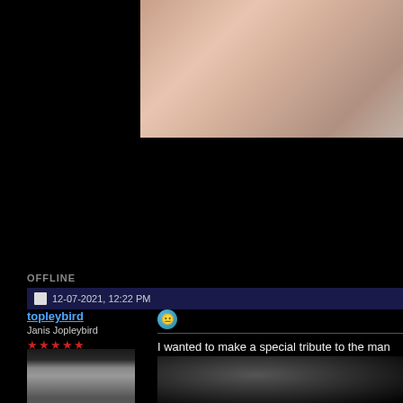[Figure (photo): Close-up photo of a person's arm/shoulder area wearing a white shirt, warm skin tones, partially cropped]
[Figure (other): Scrollbar element on dark background]
OFFLINE
12-07-2021, 12:22 PM
topleybird
Janis Jopleybird
★★★★★
[Figure (photo): Gray British Shorthair cat avatar photo, dark background]
[Figure (photo): Emoji icon - blue/teal smiley face]
I wanted to make a special tribute to the man
[Figure (photo): Dark photo, partially visible subject on dark background]